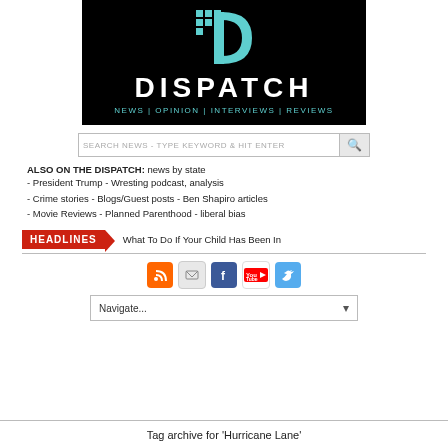[Figure (logo): Dispatch logo on black background with D graphic, the word DISPATCH in white, and NEWS | OPINION | INTERVIEWS | REVIEWS in teal below]
SEARCH NEWS - TYPE KEYWORD & HIT ENTER
ALSO ON THE DISPATCH: news by state
- President Trump - Wresting podcast, analysis
- Crime stories - Blogs/Guest posts - Ben Shapiro articles
- Movie Reviews - Planned Parenthood - liberal bias
HEADLINES What To Do If Your Child Has Been In
[Figure (other): Social media icons: RSS (orange), Email (grey), Facebook (blue), YouTube (red/white), Twitter (blue)]
Navigate...
Tag archive for 'Hurricane Lane'